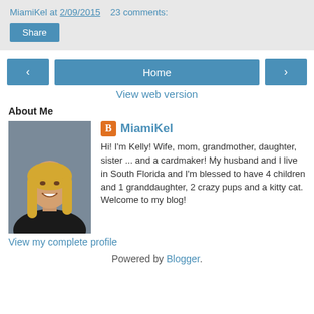MiamiKel at 2/09/2015   23 comments:
Share
[Figure (screenshot): Navigation buttons: left arrow, Home, right arrow]
View web version
About Me
[Figure (photo): Profile photo of MiamiKel - woman with blonde hair]
MiamiKel
Hi! I'm Kelly! Wife, mom, grandmother, daughter, sister ... and a cardmaker! My husband and I live in South Florida and I'm blessed to have 4 children and 1 granddaughter, 2 crazy pups and a kitty cat. Welcome to my blog!
View my complete profile
Powered by Blogger.